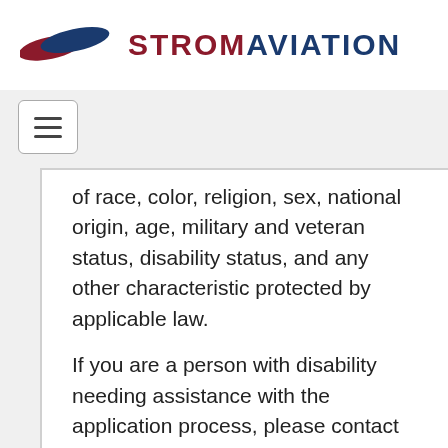[Figure (logo): Strom Aviation logo with red and blue wing shapes and the brand name STROM AVIATION]
[Figure (other): Hamburger menu button (three horizontal lines in a rounded rectangle)]
of race, color, religion, sex, national origin, age, military and veteran status, disability status, and any other characteristic protected by applicable law.
If you are a person with disability needing assistance with the application process, please contact us at